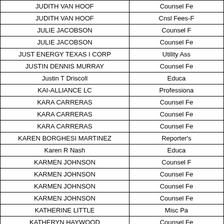| Name | Category |
| --- | --- |
| JUDITH VAN HOOF | Counsel Fe... |
| JUDITH VAN HOOF | Cnsl Fees-F... |
| JULIE JACOBSON | Counsel F... |
| JULIE JACOBSON | Counsel Fe... |
| JUST ENERGY TEXAS I CORP | Utility Ass... |
| JUSTIN DENNIS MURRAY | Counsel Fe... |
| Justin T Driscoll | Educa... |
| KAI-ALLIANCE LC | Professiona... |
| KARA CARRERAS | Counsel Fe... |
| KARA CARRERAS | Counsel Fe... |
| KARA CARRERAS | Counsel Fe... |
| KAREN BORGHESI MARTINEZ | Reporter's... |
| Karen R Nash | Educa... |
| KARMEN JOHNSON | Counsel F... |
| KARMEN JOHNSON | Counsel Fe... |
| KARMEN JOHNSON | Counsel Fe... |
| KARMEN JOHNSON | Counsel Fe... |
| KATHERINE LITTLE | Misc Pa... |
| KATHERYN HAYWOOD | Counsel Fe... |
| KATHERYN HAYWOOD | Counsel Fe... |
| KATHLEEN JEANNE MEGONIGAL | Counsel F... |
| KATHLEEN JEANNE MEGONIGAL | Counsel Fe... |
| KATHY EHMANN CLARDY | Counsel Fe... |